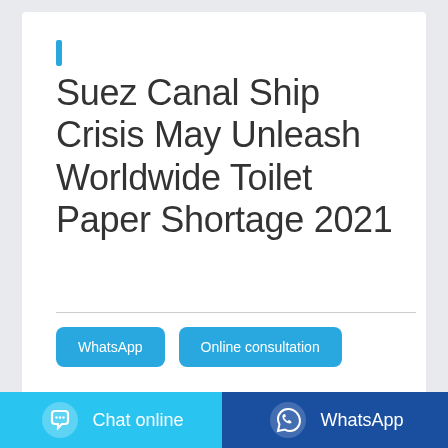Suez Canal Ship Crisis May Unleash Worldwide Toilet Paper Shortage 2021
WhatsApp
Online consultation
Chat online
WhatsApp